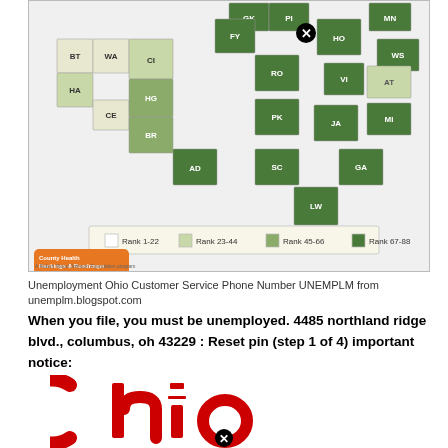[Figure (map): Ohio county health rankings map showing counties shaded in four ranks (1-22, 23-44, 45-66, 67-88) with county abbreviations labeled. Most counties in the southeastern region appear darker green (higher rank). A legend at the bottom shows four shading levels. County Health Rankings & Roadmaps logo in orange. A blocked/close icon appears over one county.]
Unemployment Ohio Customer Service Phone Number UNEMPLM from unemplm.blogspot.com
When you file, you must be unemployed. 4485 northland ridge blvd., columbus, oh 43229 : Reset pin (step 1 of 4) important notice:
[Figure (logo): Ohio state logo in red/crimson with large stylized 'Ohio' text. The O is open (bracket-style), 'hio' in bold red. A blocked/close icon overlaid near bottom center.]